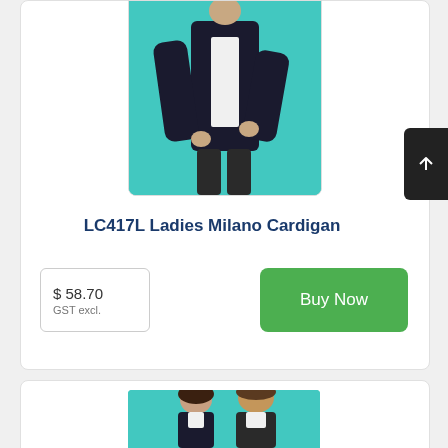[Figure (photo): Product photo of a woman wearing a black cardigan against a teal/turquoise background, cropped at waist level showing lower body]
LC417L Ladies Milano Cardigan
$ 58.70
GST excl.
Buy Now
[Figure (photo): Product photo showing a woman and man wearing black cardigans/sweaters against a teal background, partially visible at bottom of page]